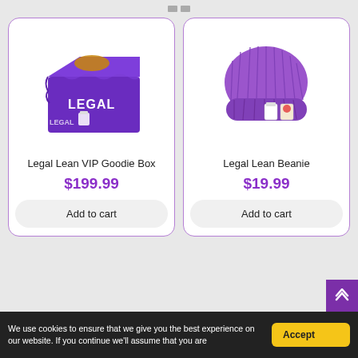[Figure (photo): Legal Lean VIP Goodie Box - purple box with brand illustrations]
Legal Lean VIP Goodie Box
$199.99
Add to cart
[Figure (photo): Legal Lean Beanie - purple knit beanie with brand pins]
Legal Lean Beanie
$19.99
Add to cart
We use cookies to ensure that we give you the best experience on our website. If you continue we'll assume that you are
Accept